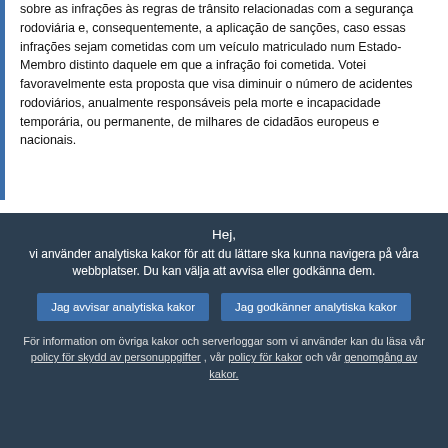sobre as infrações às regras de trânsito relacionadas com a segurança rodoviária e, consequentemente, a aplicação de sanções, caso essas infrações sejam cometidas com um veículo matriculado num Estado-Membro distinto daquele em que a infração foi cometida. Votei favoravelmente esta proposta que visa diminuir o número de acidentes rodoviários, anualmente responsáveis pela morte e incapacidade temporária, ou permanente, de milhares de cidadãos europeus e nacionais.
[Figure (photo): Portrait photo of José Manuel Fernandes, a man wearing glasses and a suit]
José Manuel Fernandes (PPE), por escrito. — O Tribunal de Justiça da UE havia decidido que a segurança nos transportes constitui a base jurídica adequada. Ora, o conteúdo das disposições da diretiva
Hej, vi använder analytiska kakor för att du lättare ska kunna navigera på våra webbplatser. Du kan välja att avvisa eller godkänna dem.
Jag avvisar analytiska kakor
Jag godkänner analytiska kakor
För information om övriga kakor och serverloggar som vi använder kan du läsa vår policy för skydd av personuppgifter , vår policy för kakor och vår genomgång av kakor.